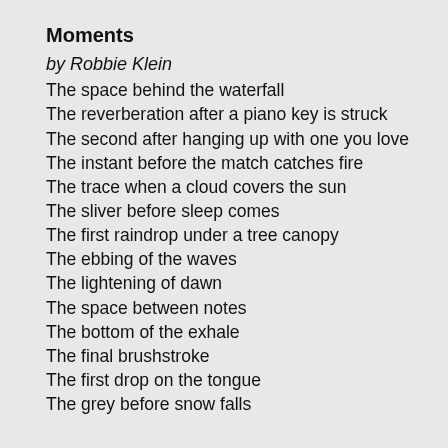Moments
by Robbie Klein
The space behind the waterfall
The reverberation after a piano key is struck
The second after hanging up with one you love
The instant before the match catches fire
The trace when a cloud covers the sun
The sliver before sleep comes
The first raindrop under a tree canopy
The ebbing of the waves
The lightening of dawn
The space between notes
The bottom of the exhale
The final brushstroke
The first drop on the tongue
The grey before snow falls